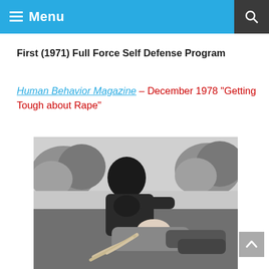Menu
First (1971) Full Force Self Defense Program
Human Behavior Magazine – December 1978 “Getting Tough about Rape”
[Figure (photo): Black and white photograph showing two people in a self-defense training scenario on grass, one person on top of the other in a struggle position, with shrubbery in the background.]